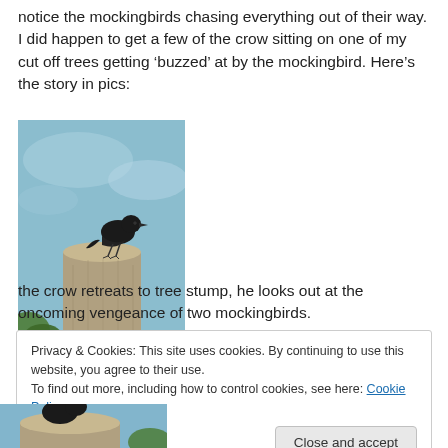notice the mockingbirds chasing everything out of their way. I did happen to get a few of the crow sitting on one of my cut off trees getting ‘buzzed’ at by the mockingbird. Here’s the story in pics:
[Figure (photo): A crow perched on top of a cut tree stump against a light blue sky background with some green foliage visible at the bottom.]
the crow retreats to tree stump, he looks out at the oncoming vengeance of two mockingbirds.
Privacy & Cookies: This site uses cookies. By continuing to use this website, you agree to their use.
To find out more, including how to control cookies, see here: Cookie Policy
[Figure (photo): Partial photo of a crow at the bottom of the page, similar setting to the first photo.]